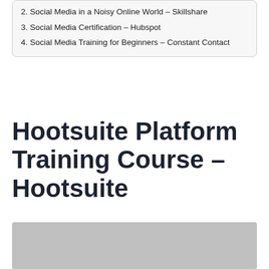2. Social Media in a Noisy Online World – Skillshare
3. Social Media Certification – Hubspot
4. Social Media Training for Beginners – Constant Contact
Hootsuite Platform Training Course – Hootsuite
[Figure (photo): Gray placeholder image for Hootsuite Platform Training Course]